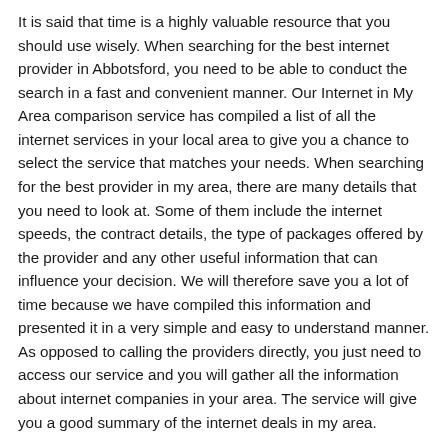It is said that time is a highly valuable resource that you should use wisely. When searching for the best internet provider in Abbotsford, you need to be able to conduct the search in a fast and convenient manner. Our Internet in My Area comparison service has compiled a list of all the internet services in your local area to give you a chance to select the service that matches your needs. When searching for the best provider in my area, there are many details that you need to look at. Some of them include the internet speeds, the contract details, the type of packages offered by the provider and any other useful information that can influence your decision. We will therefore save you a lot of time because we have compiled this information and presented it in a very simple and easy to understand manner. As opposed to calling the providers directly, you just need to access our service and you will gather all the information about internet companies in your area. The service will give you a good summary of the internet deals in my area.